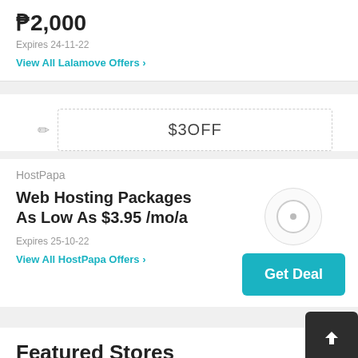₱2,000
Expires 24-11-22
View All Lalamove Offers ›
$3OFF
HostPapa
Web Hosting Packages As Low As $3.95 /mo/a
Expires 25-10-22
View All HostPapa Offers ›
Get Deal
Featured Stores